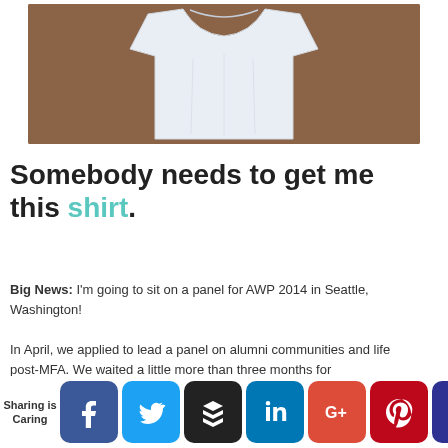[Figure (photo): A white t-shirt laid flat on a brown textured background, photographed from above.]
Somebody needs to get me this shirt.
Big News: I'm going to sit on a panel for AWP 2014 in Seattle, Washington!
In April, we applied to lead a panel on alumni communities and life post-MFA. We waited a little more than three months for
Sharing is Caring [Facebook] [Twitter] [Buffer] [LinkedIn] [Google+] [Pinterest] [King]